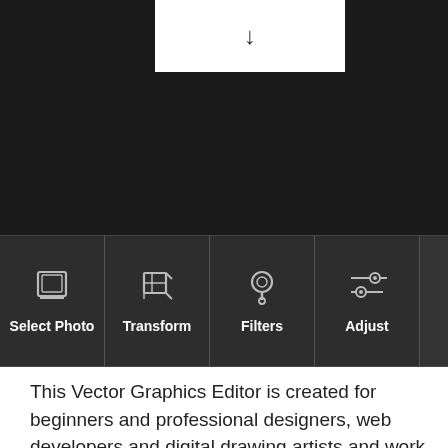[Figure (screenshot): Screenshot of a photo/vector editor interface showing a dark toolbar with icons and labels: Select Photo, Transform, Filters, Adjust. Above the toolbar is a black background area with a white dialog box containing a downward arrow.]
This Vector Graphics Editor is created for beginners and professional designers, web developers and digital drawing artists and work as a free Adobe Illustrator alternative. Make page layouts, web design, create illustrations and draw sketches/comics from scratch for publication or sale. Test this Editor before using Adobe Illustrator Online.